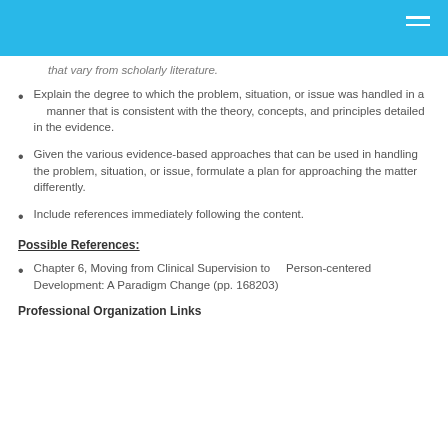that vary from scholarly literature.
Explain the degree to which the problem, situation, or issue was handled in a manner that is consistent with the theory, concepts, and principles detailed in the evidence.
Given the various evidence-based approaches that can be used in handling the problem, situation, or issue, formulate a plan for approaching the matter differently.
Include references immediately following the content.
Possible References:
Chapter 6, Moving from Clinical Supervision to Person-centered Development: A Paradigm Change (pp. 168203)
Professional Organization Links